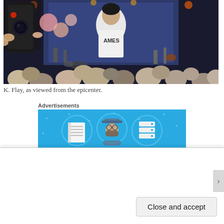[Figure (photo): Concert photo showing K. Flay performing on stage, viewed from the crowd. A hand holds up a smartphone recording the show. A large screen shows the performer in a white shirt. Audience members' heads are visible in the foreground.]
K. Flay, as viewed from the epicenter.
Advertisements
[Figure (illustration): Advertisement banner with light blue background featuring illustrated icons of a notebook, a cartoon person with a beard wearing glasses, and a server/database stack.]
Privacy & Cookies: This site uses cookies. By continuing to use this website, you agree to their use.
To find out more, including how to control cookies, see here: Cookie Policy
Close and accept